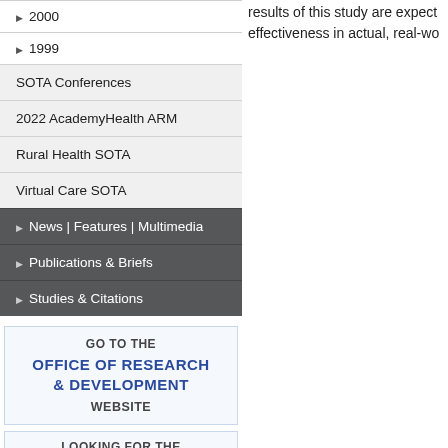▶ 2000
▶ 1999
SOTA Conferences
2022 AcademyHealth ARM
Rural Health SOTA
Virtual Care SOTA
▶ News | Features | Multimedia
▶ Publications & Briefs
▶ Studies & Citations
GO TO THE OFFICE OF RESEARCH & DEVELOPMENT WEBSITE
LOOKING FOR THE QUERI
results of this study are expect effectiveness in actual, real-wo